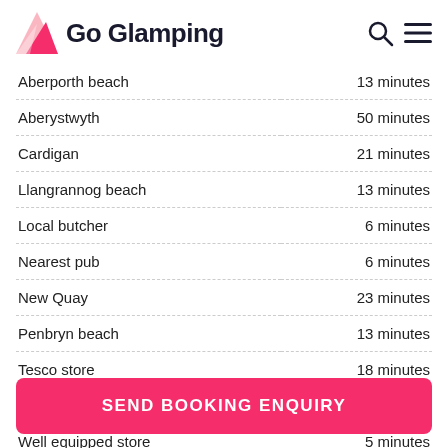Go Glamping
| Location | Distance |
| --- | --- |
| Aberporth beach | 13 minutes |
| Aberystwyth | 50 minutes |
| Cardigan | 21 minutes |
| Llangrannog beach | 13 minutes |
| Local butcher | 6 minutes |
| Nearest pub | 6 minutes |
| New Quay | 23 minutes |
| Penbryn beach | 13 minutes |
| Tesco store | 18 minutes |
| Tresaith beach | 12 minutes |
| Well equipped store | 5 minutes |
SEND BOOKING ENQUIRY